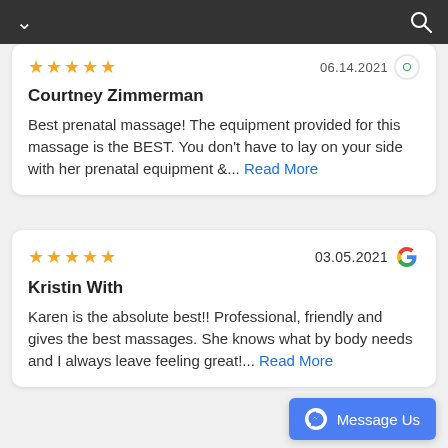Navigation bar with chevron and search icon
★★★★★  06.14.2021
Courtney Zimmerman
Best prenatal massage! The equipment provided for this massage is the BEST. You don't have to lay on your side with her prenatal equipment &... Read More
★★★★★  03.05.2021
Kristin With
Karen is the absolute best!! Professional, friendly and gives the best massages. She knows what by body needs and I always leave feeling great!... Read More